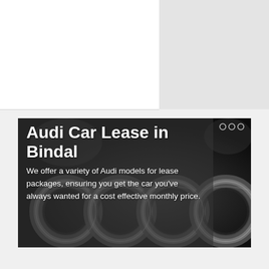[Figure (photo): Close-up photo of Audi car logo rings on a dark metallic grille, with a semi-transparent dark overlay containing the title and description text.]
Audi Car Lease in Bindal
We offer a variety of Audi models for lease packages, ensuring you get the car you've always wanted for a cost effective monthly price.